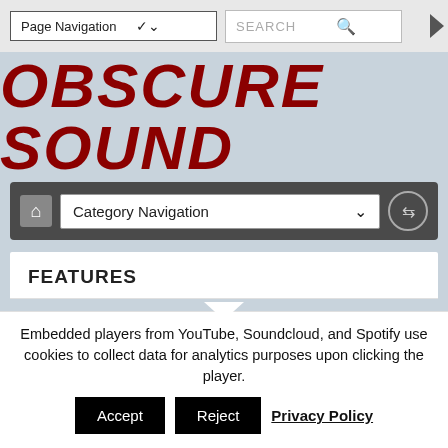Page Navigation  SEARCH
OBSCURE SOUND
Category Navigation
FEATURES
[Figure (photo): Photo of a hand against a purple background, with a black panel on the right side]
Embedded players from YouTube, Soundcloud, and Spotify use cookies to collect data for analytics purposes upon clicking the player.
Accept  Reject  Privacy Policy